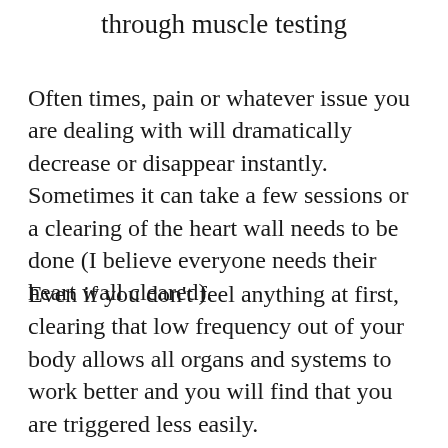through muscle testing
Often times, pain or whatever issue you are dealing with will dramatically decrease or disappear instantly. Sometimes it can take a few sessions or a clearing of the heart wall needs to be done (I believe everyone needs their heart wall cleared).
Even if you don’t feel anything at first, clearing that low frequency out of your body allows all organs and systems to work better and you will find that you are triggered less easily.